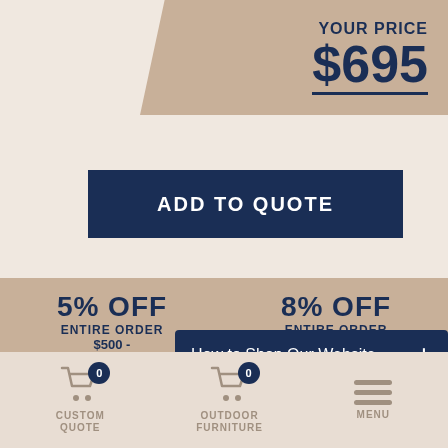YOUR PRICE $695
ADD TO QUOTE
5% OFF ENTIRE ORDER $500 -
8% OFF ENTIRE ORDER
10% OFF
13% OFF
How to Shop Our Website +
CUSTOM QUOTE  OUTDOOR FURNITURE  MENU